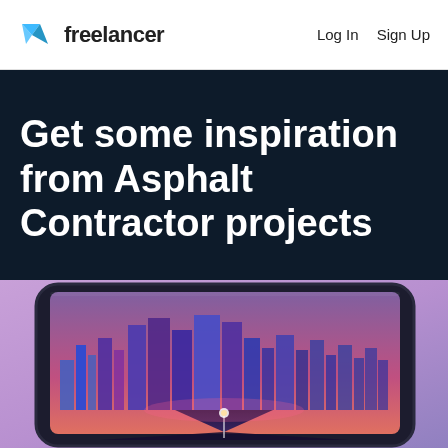freelancer   Log In   Sign Up
Get some inspiration from Asphalt Contractor projects
[Figure (illustration): A smartphone displayed in landscape orientation showing a retro-futuristic neon cityscape illustration with a road leading into a glowing city skyline against a purple/pink gradient background.]